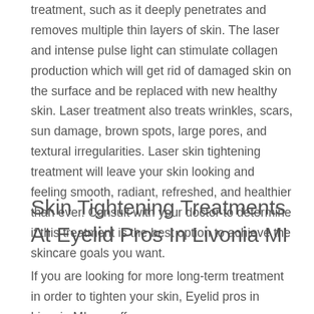treatment, such as it deeply penetrates and removes multiple thin layers of skin. The laser and intense pulse light can stimulate collagen production which will get rid of damaged skin on the surface and be replaced with new healthy skin. Laser treatment also treats wrinkles, scars, sun damage, brown spots, large pores, and textural irregularities. Laser skin tightening treatment will leave your skin looking and feeling smooth, radiant, refreshed, and healthier than ever. Consult with your doctor to determine if this treatment is the best option to achieve the skincare goals you want.
Skin Tightening Treatments At Eyelid Pros In Livonia MI
If you are looking for more long-term treatment in order to tighten your skin, Eyelid pros in Livonia MI can offer you a